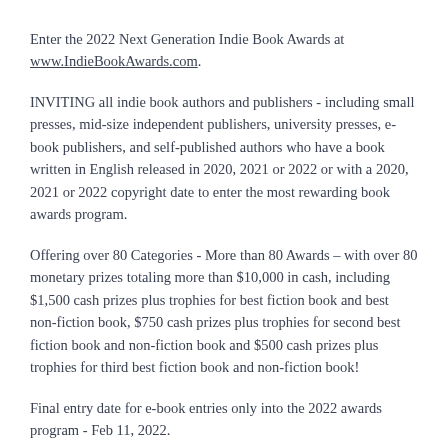Enter the 2022 Next Generation Indie Book Awards at www.IndieBookAwards.com.
INVITING all indie book authors and publishers - including small presses, mid-size independent publishers, university presses, e-book publishers, and self-published authors who have a book written in English released in 2020, 2021 or 2022 or with a 2020, 2021 or 2022 copyright date to enter the most rewarding book awards program.
Offering over 80 Categories - More than 80 Awards – with over 80 monetary prizes totaling more than $10,000 in cash, including $1,500 cash prizes plus trophies for best fiction book and best non-fiction book, $750 cash prizes plus trophies for second best fiction book and non-fiction book and $500 cash prizes plus trophies for third best fiction book and non-fiction book!
Final entry date for e-book entries only into the 2022 awards program - Feb 11, 2022.